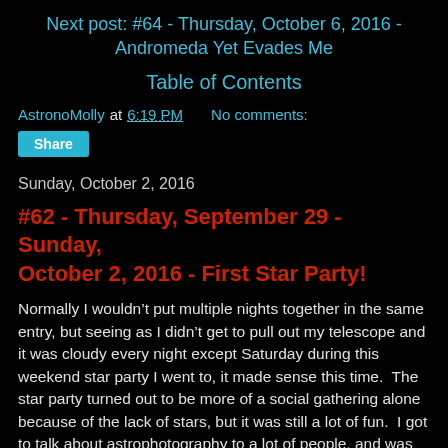Next post: #64 - Thursday, October 6, 2016 - Andromeda Yet Evades Me
Table of Contents
AstronoMolly at 6:19 PM    No comments:
Share
Sunday, October 2, 2016
#62 - Thursday, September 29 - Sunday, October 2, 2016 - First Star Party!
Normally I wouldn’t put multiple nights together in the same entry, but seeing as I didn’t get to pull out my telescope and it was cloudy every night except Saturday during this weekend star party I went to, it made sense this time.  The star party turned out to be more of a social gathering alone because of the lack of stars, but it was still a lot of fun.  I got to talk about astrophotography to a lot of people, and was even asked to step in and give a talk about it